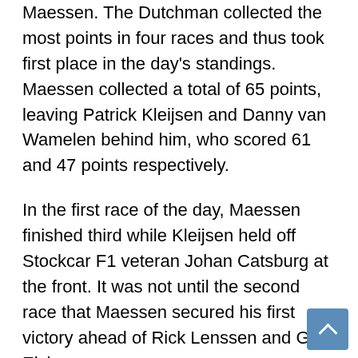Maessen. The Dutchman collected the most points in four races and thus took first place in the day's standings. Maessen collected a total of 65 points, leaving Patrick Kleijsen and Danny van Wamelen behind him, who scored 61 and 47 points respectively.
In the first race of the day, Maessen finished third while Kleijsen held off Stockcar F1 veteran Johan Catsburg at the front. It was not until the second race that Maessen secured his first victory ahead of Rick Lenssen and Gert Elzinga.
In the third race, Maessen again had to admit defeat to Kleijsen. The final also went to Kleijsen, but Maessen's consistency paid off, which is why he went on to win the day. Kleijsen's tenth place